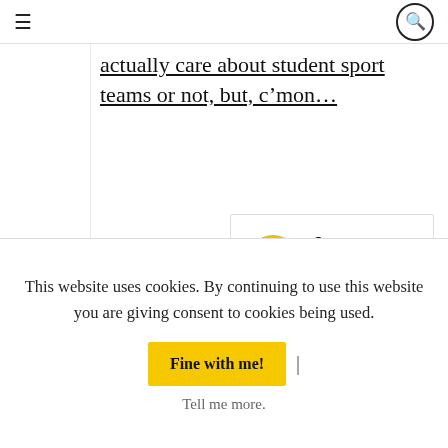≡  [search icon]
actually care about student sport teams or not, but, c'mon...
James says: 14/10/2014 At 16:47

Well they don't want to read some students'
This website uses cookies. By continuing to use this website you are giving consent to cookies being used.
Fine with me! |
Tell me more.